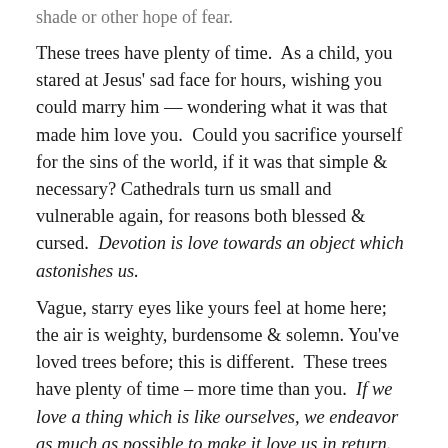shade or other hope of fear.
These trees have plenty of time.  As a child, you stared at Jesus' sad face for hours, wishing you could marry him — wondering what it was that made him love you.  Could you sacrifice yourself for the sins of the world, if it was that simple & necessary? Cathedrals turn us small and vulnerable again, for reasons both blessed & cursed.  Devotion is love towards an object which astonishes us.
Vague, starry eyes like yours feel at home here; the air is weighty, burdensome & solemn. You've loved trees before; this is different.  These trees have plenty of time – more time than you.  If we love a thing which is like ourselves, we endeavor as much as possible to make it love us in return.
Your nerves are suddenly frozen, by the unaccustomed